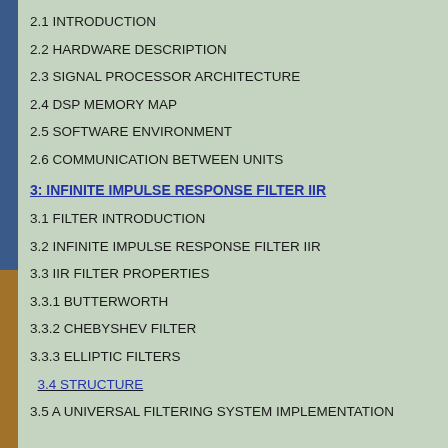2.1 INTRODUCTION
2.2 HARDWARE DESCRIPTION
2.3 SIGNAL PROCESSOR ARCHITECTURE
2.4 DSP MEMORY MAP
2.5 SOFTWARE ENVIRONMENT
2.6 COMMUNICATION BETWEEN UNITS
3: INFINITE IMPULSE RESPONSE FILTER IIR
3.1 FILTER INTRODUCTION
3.2 INFINITE IMPULSE RESPONSE FILTER IIR
3.3 IIR FILTER PROPERTIES
3.3.1 BUTTERWORTH
3.3.2 CHEBYSHEV FILTER
3.3.3 ELLIPTIC FILTERS
3.4 STRUCTURE
3.5 A UNIVERSAL FILTERING SYSTEM IMPLEMENTATION